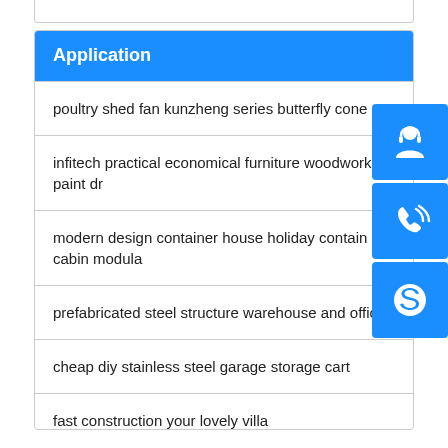| Application |
| --- |
| poultry shed fan kunzheng series butterfly cone |
| infitech practical economical furniture woodwork paint dr |
| modern design container house holiday container cabin modula |
| prefabricated steel structure warehouse and office |
| cheap diy stainless steel garage storage cart |
| fast construction your lovely villa |
[Figure (illustration): Three blue icon buttons on the right side: a customer service/headset icon, a phone/call icon, and a Skype icon]